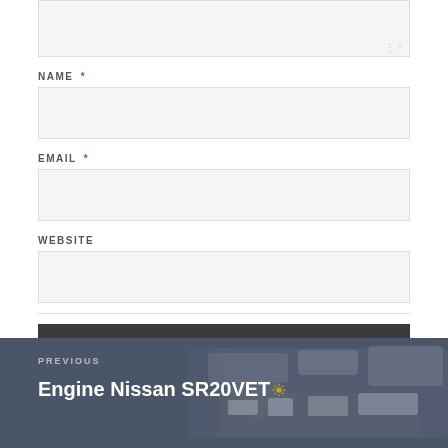[Figure (screenshot): Textarea input box (top, partially visible) with resize handle]
NAME *
[Figure (screenshot): Name input field (empty, light gray background)]
EMAIL *
[Figure (screenshot): Email input field (empty, light gray background)]
WEBSITE
[Figure (screenshot): Website input field (empty, light gray background)]
POST COMMENT
PREVIOUS
Engine Nissan SR20VET